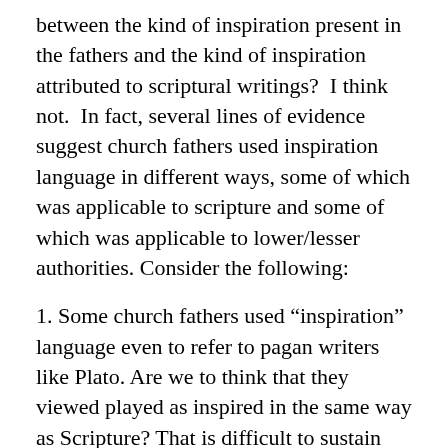between the kind of inspiration present in the fathers and the kind of inspiration attributed to scriptural writings?  I think not.  In fact, several lines of evidence suggest church fathers used inspiration language in different ways, some of which was applicable to scripture and some of which was applicable to lower/lesser authorities. Consider the following:
1. Some church fathers used “inspiration” language even to refer to pagan writers like Plato. Are we to think that they viewed played as inspired in the same way as Scripture? That is difficult to sustain given what we know about the view of Scripture among the church fathers.